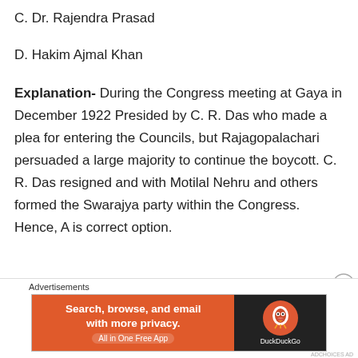C. Dr. Rajendra Prasad
D. Hakim Ajmal Khan
Explanation- During the Congress meeting at Gaya in December 1922 Presided by C. R. Das who made a plea for entering the Councils, but Rajagopalachari persuaded a large majority to continue the boycott. C. R. Das resigned and with Motilal Nehru and others formed the Swarajya party within the Congress. Hence, A is correct option.
[Figure (infographic): DuckDuckGo advertisement banner: 'Search, browse, and email with more privacy. All in One Free App' on orange background with DuckDuckGo logo on dark background.]